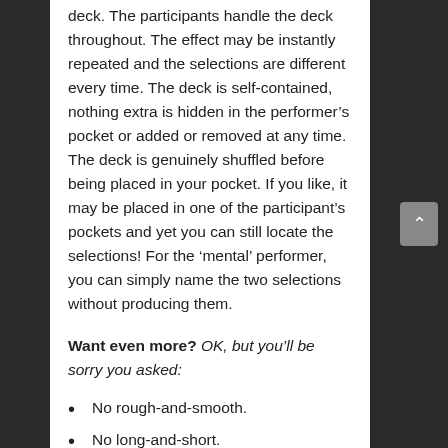deck. The participants handle the deck throughout. The effect may be instantly repeated and the selections are different every time. The deck is self-contained, nothing extra is hidden in the performer’s pocket or added or removed at any time. The deck is genuinely shuffled before being placed in your pocket. If you like, it may be placed in one of the participant’s pockets and yet you can still locate the selections! For the ‘mental’ performer, you can simply name the two selections without producing them.
Want even more? OK, but you’ll be sorry you asked:
No rough-and-smooth.
No long-and-short.